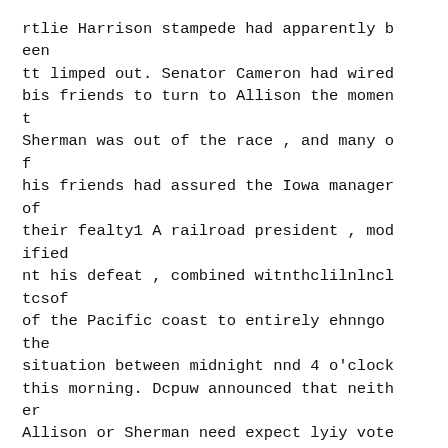rtlie Harrison stampede had apparently been
tt limped out. Senator Cameron had wired bis friends to turn to Allison the moment
Sherman was out of the race , and many of
his friends had assured the Iowa manager of
their fealty1 A railroad president , modified
nt his defeat , combined witnthclilnlncltcsof
of the Pacific coast to entirely ehnngo the
situation between midnight nnd 4 o'clock this morning. Dcpuw announced that neither
Allison or Sherman need expect lyiy vote